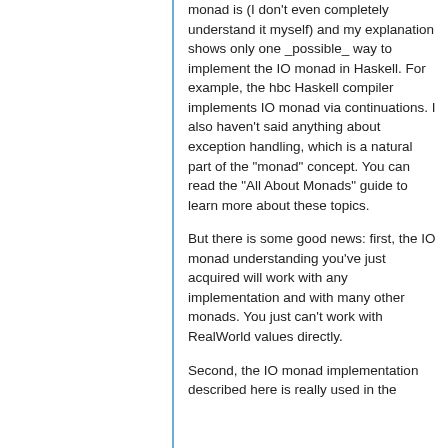monad is (I don't even completely understand it myself) and my explanation shows only one _possible_ way to implement the IO monad in Haskell. For example, the hbc Haskell compiler implements IO monad via continuations. I also haven't said anything about exception handling, which is a natural part of the "monad" concept. You can read the "All About Monads" guide to learn more about these topics.
But there is some good news: first, the IO monad understanding you've just acquired will work with any implementation and with many other monads. You just can't work with RealWorld values directly.
Second, the IO monad implementation described here is really used in the